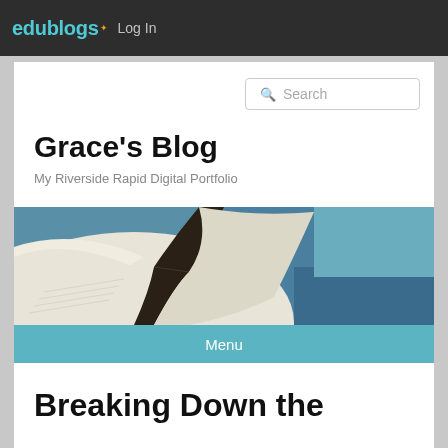edublogs Log In
Grace's Blog
My Riverside Rapid Digital Portfolio
[Figure (photo): Open book photograph, pages fanned open, with blue background]
Menu
Breaking Down the Meaning of Life